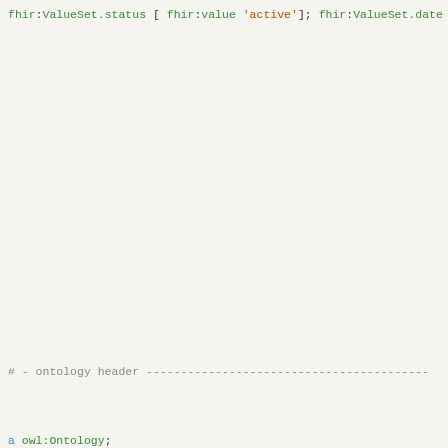fhir:ValueSet.status [ fhir:value 'active' ];
fhir:ValueSet.date [ fhir:value "2014-03-26"^^xsd:date
fhir:ValueSet.description [ fhir:value "Amniotic flui
fhir:ValueSet.compose [
fhir:ValueSet.compose.include [
fhir:index 0;
fhir:ValueSet.compose.include.system [ fhir:value
fhir:ValueSet.compose.include.filter [
fhir:index 0;
fhir:ValueSet.compose.include.filter.property
fhir:ValueSet.compose.include.filter.op [ fhir
fhir:ValueSet.compose.include.filter.value [ fh
fhir:ValueSet.compose.exclude [
fhir:index 0;
fhir:ValueSet.compose.include.system [ fhir:value
fhir:ValueSet.compose.include.concept [
fhir:index 0;
fhir:ValueSet.compose.include.concept.code [ fh
].
# - ontology header ---
a owl:Ontology;